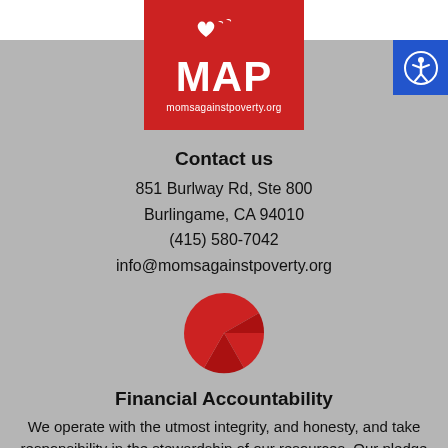[Figure (logo): MAP (Moms Against Poverty) logo - red square with white heart/dove graphic and MAP text, URL momsagainstpoverty.org below]
Contact us
851 Burlway Rd, Ste 800
Burlingame, CA 94010
(415) 580-7042
info@momsagainstpoverty.org
[Figure (illustration): Red pie chart icon showing a donut/pie chart with segments]
Financial Accountability
We operate with the utmost integrity, and honesty, and take responsibility in the stewardship of our resources. Our pledge is to